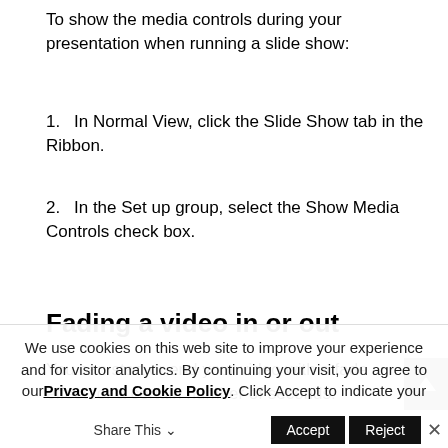To show the media controls during your presentation when running a slide show:
1. In Normal View, click the Slide Show tab in the Ribbon.
2. In the Set up group, select the Show Media Controls check box.
Fading a video in or out
You can start or end your video with a fade effect for a certain number of seconds.
We use cookies on this web site to improve your experience and for visitor analytics. By continuing your visit, you agree to our Privacy and Cookie Policy. Click Accept to indicate your agreement and continue your visit.